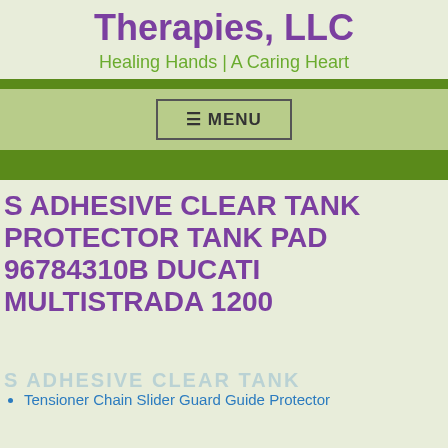Therapies, LLC
Healing Hands | A Caring Heart
☰ MENU
S ADHESIVE CLEAR TANK PROTECTOR TANK PAD 96784310B DUCATI MULTISTRADA 1200
S ADHESIVE CLEAR TANK
Tensioner Chain Slider Guard Guide Protector